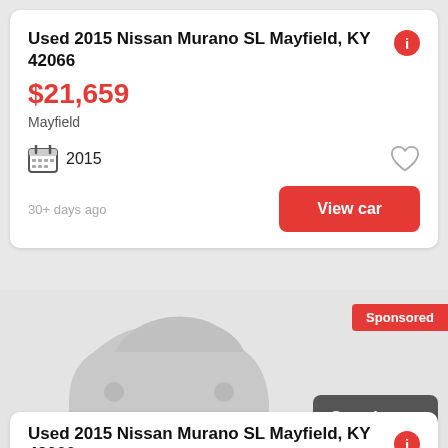Used 2015 Nissan Murano SL Mayfield, KY 42066
$21,659
Mayfield
2015
30+ days ago
View car
[Figure (screenshot): Sponsored car listing placeholder with grey car silhouette icon, Sponsored badge top right, See photo button bottom right]
Used 2015 Nissan Murano SL Mayfield, KY 42066